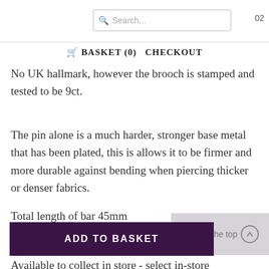Search... 02
🛒 BASKET (0)   CHECKOUT
No UK hallmark, however the brooch is stamped and tested to be 9ct.
The pin alone is a much harder, stronger base metal that has been plated, this is allows it to be firmer and more durable against bending when piercing thicker or denser fabrics.
Total length of bar 45mm
ADD TO BASKET
Available to collect in store - select in-store collection at check out